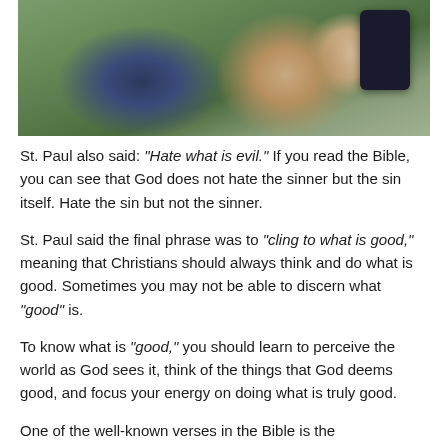[Figure (photo): Two people sitting on a bench outdoors, one appearing elderly in blue clothing, another in a light pink jacket holding a smartphone, with green grass in the background.]
St. Paul also said: “Hate what is evil.” If you read the Bible, you can see that God does not hate the sinner but the sin itself. Hate the sin but not the sinner.
St. Paul said the final phrase was to “cling to what is good,” meaning that Christians should always think and do what is good. Sometimes you may not be able to discern what “good” is.
To know what is “good,” you should learn to perceive the world as God sees it, think of the things that God deems good, and focus your energy on doing what is truly good.
One of the well-known verses in the Bible is the